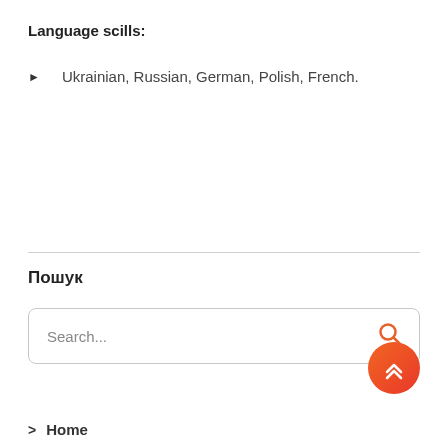Language scills:
Ukrainian, Russian, German, Polish, French.
Пошук
[Figure (screenshot): Search input box with placeholder text 'Search...' and an orange magnifying glass icon on the right]
[Figure (other): Orange/red gradient floating action button with double up-arrow chevron icon]
> Home